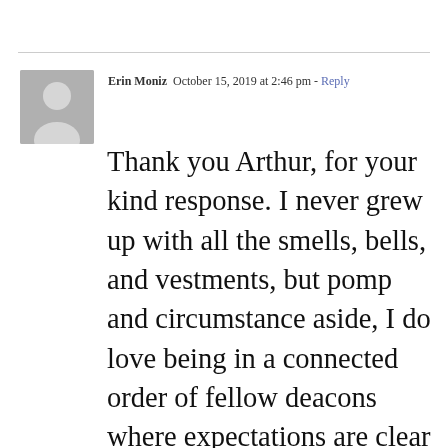Erin Moniz  October 15, 2019 at 2:46 pm - Reply
Thank you Arthur, for your kind response. I never grew up with all the smells, bells, and vestments, but pomp and circumstance aside, I do love being in a connected order of fellow deacons where expectations are clear and disseminated consistently throughout our diocese. High